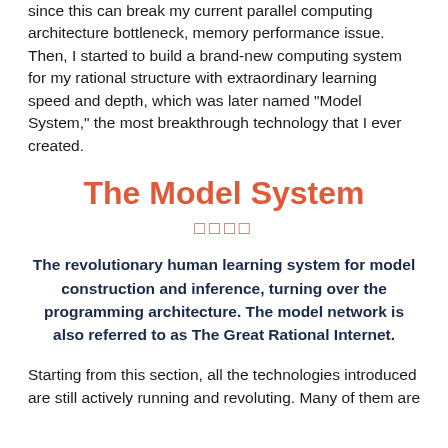since this can break my current parallel computing architecture bottleneck, memory performance issue. Then, I started to build a brand-new computing system for my rational structure with extraordinary learning speed and depth, which was later named “Model System,” the most breakthrough technology that I ever created.
The Model System
□□□□
The revolutionary human learning system for model construction and inference, turning over the programming architecture. The model network is also referred to as The Great Rational Internet.
Starting from this section, all the technologies introduced are still actively running and revoluting. Many of them are